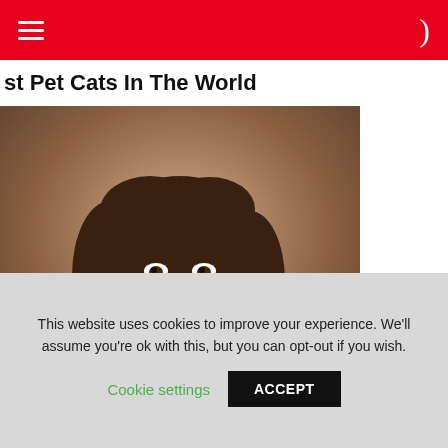st Pet Cats In The World
[Figure (photo): A woman with brown wavy hair wearing a white shirt with a logo, leaning forward and looking at the camera. Background is blurred.]
[Figure (logo): W logo in teal/cyan color]
This website uses cookies to improve your experience. We'll assume you're ok with this, but you can opt-out if you wish.
Cookie settings   ACCEPT